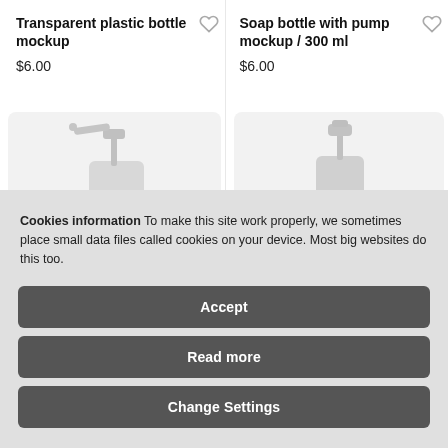Transparent plastic bottle mockup
$6.00
[Figure (illustration): White soap dispenser pump bottle mockup on light gray background]
Soap bottle with pump mockup / 300 ml
$6.00
[Figure (illustration): White soap dispenser pump bottle mockup on light gray background]
Cookies information To make this site work properly, we sometimes place small data files called cookies on your device. Most big websites do this too.
Accept
Read more
Change Settings